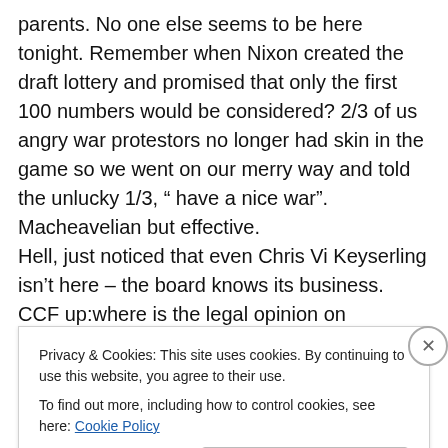parents. No one else seems to be here tonight. Remember when Nixon created the draft lottery and promised that only the first 100 numbers would be considered? 2/3 of us angry war protestors no longer had skin in the game so we went on our merry way and told the unlucky 1/3, " have a nice war". Macheavelian but effective.
Hell, just noticed that even Chris Vi Keyserling isn't here – the board knows its business.
CCF up:where is the legal opinion on constitutionality of racial redistricting law? If we discovered and expelled 20
Privacy & Cookies: This site uses cookies. By continuing to use this website, you agree to their use.
To find out more, including how to control cookies, see here: Cookie Policy